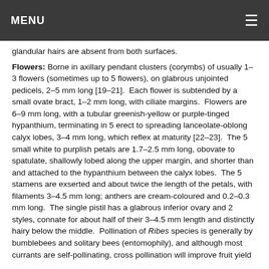MENU
glandular hairs are absent from both surfaces.
Flowers: Borne in axillary pendant clusters (corymbs) of usually 1–3 flowers (sometimes up to 5 flowers), on glabrous unjointed pedicels, 2–5 mm long [19–21]. Each flower is subtended by a small ovate bract, 1–2 mm long, with ciliate margins. Flowers are 6–9 mm long, with a tubular greenish-yellow or purple-tinged hypanthium, terminating in 5 erect to spreading lanceolate-oblong calyx lobes, 3–4 mm long, which reflex at maturity [22–23]. The 5 small white to purplish petals are 1.7–2.5 mm long, obovate to spatulate, shallowly lobed along the upper margin, and shorter than and attached to the hypanthium between the calyx lobes. The 5 stamens are exserted and about twice the length of the petals, with filaments 3–4.5 mm long; anthers are cream-coloured and 0.2–0.3 mm long. The single pistil has a glabrous inferior ovary and 2 styles, connate for about half of their 3–4.5 mm length and distinctly hairy below the middle. Pollination of Ribes species is generally by bumblebees and solitary bees (entomophily), and although most currants are self-pollinating, cross pollination will improve fruit yield